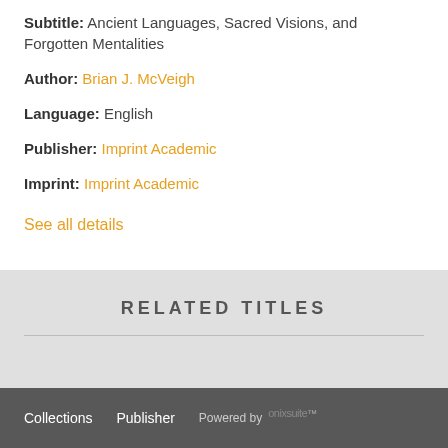Subtitle: Ancient Languages, Sacred Visions, and Forgotten Mentalities
Author: Brian J. McVeigh
Language: English
Publisher: Imprint Academic
Imprint: Imprint Academic
See all details
RELATED TITLES
Collections   Publisher   Powered by onixsuite™